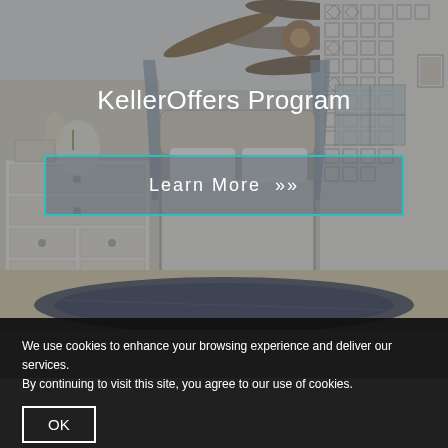[Figure (photo): Bedroom interior with ceiling fan, patterned wallpaper, dresser, and area rug. Overlaid with semi-transparent dark tint.]
KellerOffers Program
Learn More  »
[Figure (photo): Partial view of a second room/image below the bedroom panel.]
We use cookies to enhance your browsing experience and deliver our services. By continuing to visit this site, you agree to our use of cookies.
OK